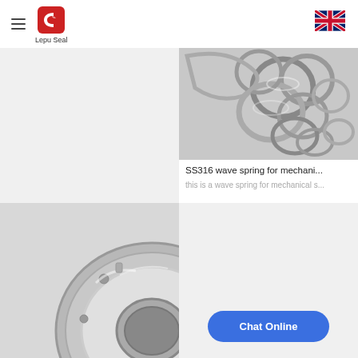Lepu Seal
[Figure (photo): Wave springs (SS316) for mechanical seals — multiple metallic ring/wave springs piled together on a gray surface]
SS316 wave spring for mechani...
this is a wave spring for mechanical s...
[Figure (photo): Mechanical seal component — circular chrome/steel seal ring with bolt holes, viewed from the front]
Chat Online